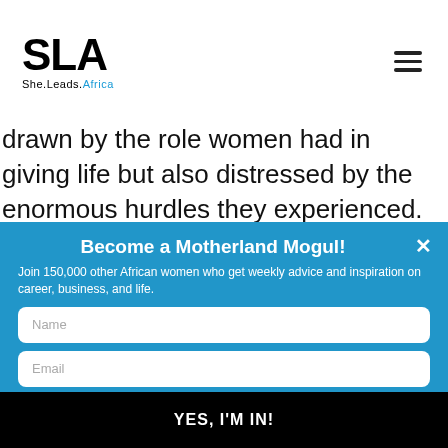SLA She.Leads.Africa
drawn by the role women had in giving life but also distressed by the enormous hurdles they experienced.
Become a Motherland Mogul!
Join 150,000 other African women who get weekly advice and inspiration on career, business, and life.
Name
Email
Country
YES, I'M IN!